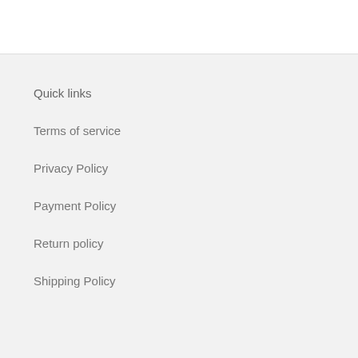Quick links
Terms of service
Privacy Policy
Payment Policy
Return policy
Shipping Policy